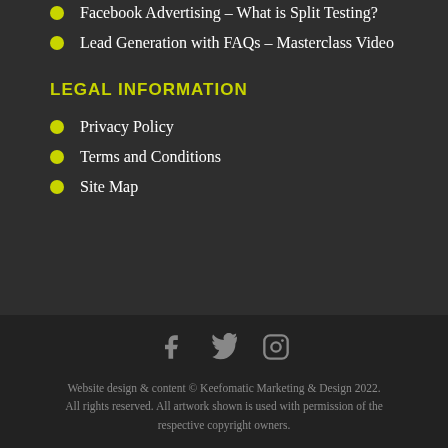Facebook Advertising – What is Split Testing?
Lead Generation with FAQs – Masterclass Video
LEGAL INFORMATION
Privacy Policy
Terms and Conditions
Site Map
Website design & content © Keefomatic Marketing & Design 2022. All rights reserved. All artwork shown is used with permission of the respective copyright owners.